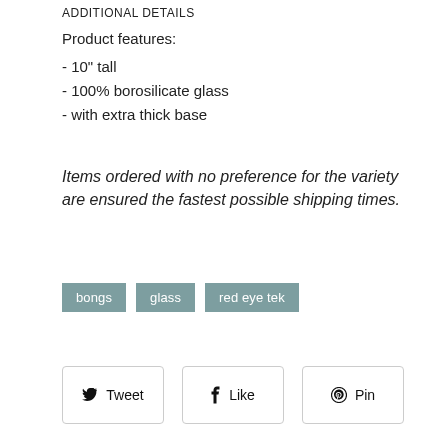ADDITIONAL DETAILS
Product features:
- 10" tall
- 100% borosilicate glass
- with extra thick base
Items ordered with no preference for the variety are ensured the fastest possible shipping times.
bongs  glass  red eye tek
Tweet  Like  Pin